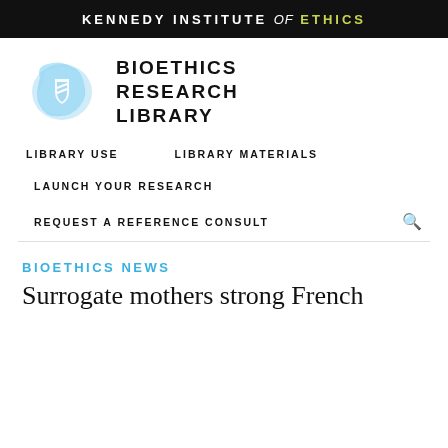KENNEDY INSTITUTE of ETHICS
[Figure (logo): Bioethics Research Library logo: blue irregular polygon shape with white shield icon, next to bold uppercase text BIOETHICS RESEARCH LIBRARY]
LIBRARY USE
LIBRARY MATERIALS
LAUNCH YOUR RESEARCH
REQUEST A REFERENCE CONSULT
BIOETHICS NEWS
Surrogate mothers strong French